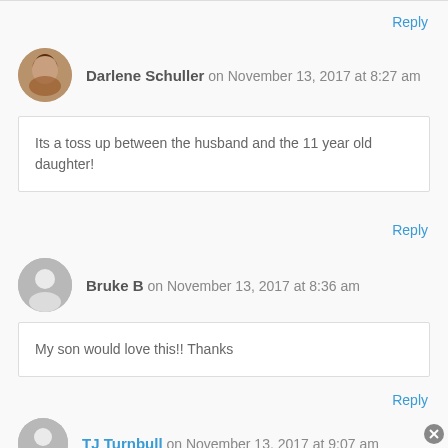Reply
Darlene Schuller on November 13, 2017 at 8:27 am
Its a toss up between the husband and the 11 year old daughter!
Reply
Bruke B on November 13, 2017 at 8:36 am
My son would love this!! Thanks
Reply
TJ Turnbull on November 13, 2017 at 9:07 am